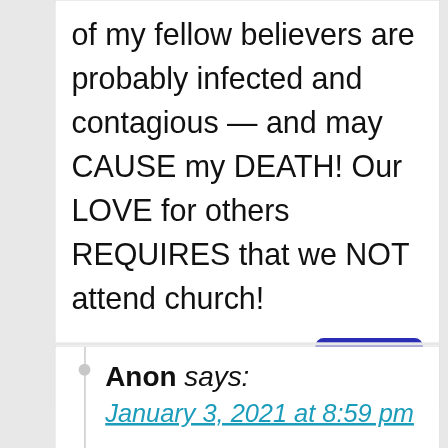of my fellow believers are probably infected and contagious — and may CAUSE my DEATH! Our LOVE for others REQUIRES that we NOT attend church!
Anon says: January 3, 2021 at 8:59 pm
Whats all the “believing”